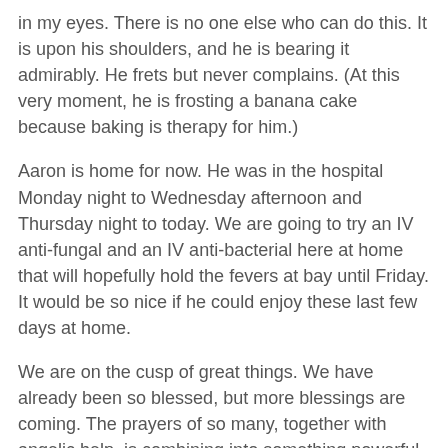in my eyes. There is no one else who can do this. It is upon his shoulders, and he is bearing it admirably. He frets but never complains. (At this very moment, he is frosting a banana cake because baking is therapy for him.)
Aaron is home for now. He was in the hospital Monday night to Wednesday afternoon and Thursday night to today. We are going to try an IV anti-fungal and an IV anti-bacterial here at home that will hopefully hold the fevers at bay until Friday. It would be so nice if he could enjoy these last few days at home.
We are on the cusp of great things. We have already been so blessed, but more blessings are coming. The prayers of so many, together with angelic help, is combining into something powerful that is about to overtake us. I am not saying this is going to be easy. We know it will not be without its complications and pain and bad days. But I really do believe that Aaron is going to rise triumphant from all of this. This intense trial will eventually become a memory, but the blessings from it will last forever.